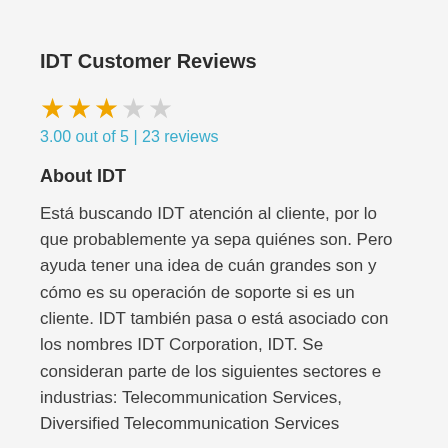IDT Customer Reviews
3.00 out of 5 | 23 reviews
About IDT
Está buscando IDT atención al cliente, por lo que probablemente ya sepa quiénes son. Pero ayuda tener una idea de cuán grandes son y cómo es su operación de soporte si es un cliente. IDT también pasa o está asociado con los nombres IDT Corporation, IDT. Se consideran parte de los siguientes sectores e industrias: Telecommunication Services, Diversified Telecommunication Services